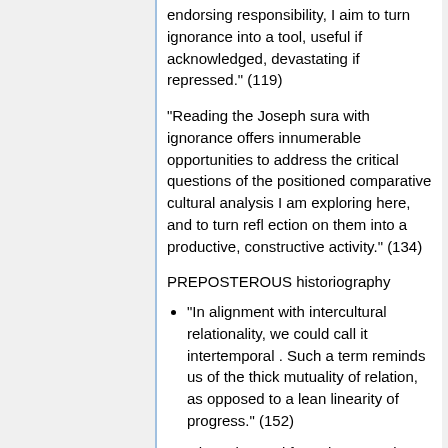endorsing responsibility, I aim to turn ignorance into a tool, useful if acknowledged, devastating if repressed." (119)
"Reading the Joseph sura with ignorance offers innumerable opportunities to address the critical questions of the positioned comparative cultural analysis I am exploring here, and to turn refl ection on them into a productive, constructive activity." (134)
PREPOSTEROUS historiography
"In alignment with intercultural relationality, we could call it intertemporal . Such a term reminds us of the thick mutuality of relation, as opposed to a lean linearity of progress." (152)
"We have learned from the Qur'anic perspective, in chapter 6, that the sign